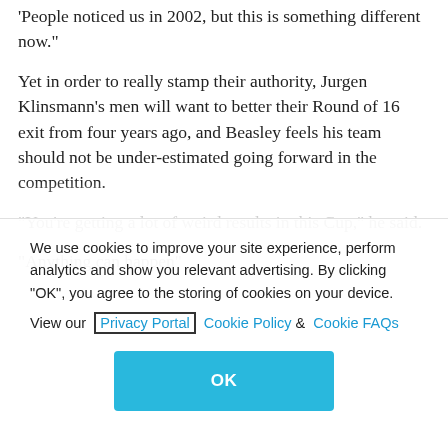'People noticed us in 2002, but this is something different now.' Yet in order to really stamp their authority, Jurgen Klinsmann's men will want to better their Round of 16 exit from four years ago, and Beasley feels his team should not be under-estimated going forward in the competition. "You're getting a lot of weird results in this Cup," he said. "Anything can happen"
We use cookies to improve your site experience, perform analytics and show you relevant advertising. By clicking "OK", you agree to the storing of cookies on your device. View our Privacy Portal Cookie Policy & Cookie FAQs